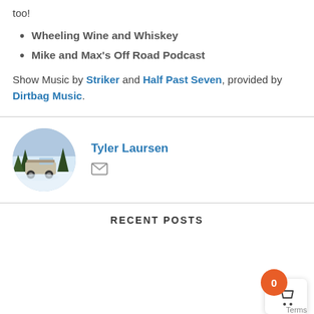too!
Wheeling Wine and Whiskey
Mike and Max's Off Road Podcast
Show Music by Striker and Half Past Seven, provided by Dirtbag Music.
Tyler Laursen
[Figure (photo): Circular avatar photo of a white SUV/truck in a snowy forest scene]
RECENT POSTS